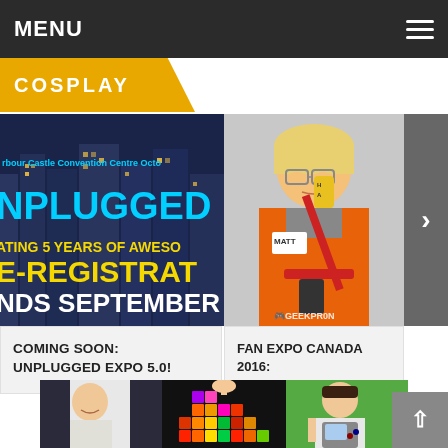MENU
COSPLAY
[Figure (photo): Unplugged Expo promotional image showing city skyline at night with text: Harbour Castle Convention Centre Oct, UNPLUGGED, ATING 5 YEARS OF AWESO, E-REGISTRATION, NDS SEPTEMBER 30]
COMING SOON: UNPLUGGED EXPO 5.0!
[Figure (photo): Person in orange safety vest costume holding a red toy weapon, with GEEKPR0N watermark visible]
FAN EXPO CANADA 2016: COSPLAY GALLERY
[Figure (photo): Bottom strip showing three cosplay photos: person in Portal costume, Tetris blocks, person holding GameBoy]